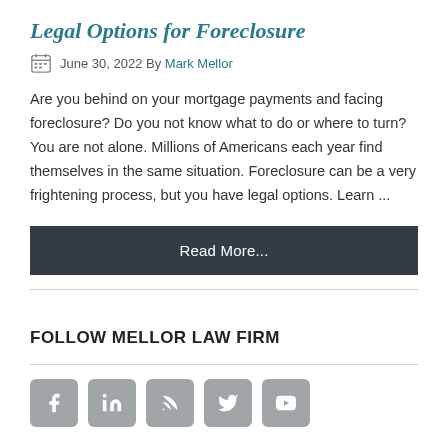Legal Options for Foreclosure
June 30, 2022 By Mark Mellor
Are you behind on your mortgage payments and facing foreclosure? Do you not know what to do or where to turn? You are not alone. Millions of Americans each year find themselves in the same situation. Foreclosure can be a very frightening process, but you have legal options. Learn ...
Read More...
FOLLOW MELLOR LAW FIRM
[Figure (infographic): Row of 5 social media icon buttons: Facebook, LinkedIn, RSS, Twitter, YouTube]